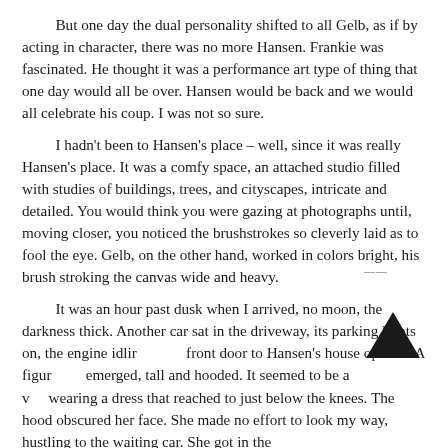But one day the dual personality shifted to all Gelb, as if by acting in character, there was no more Hansen. Frankie was fascinated. He thought it was a performance art type of thing that one day would all be over. Hansen would be back and we would all celebrate his coup. I was not so sure.

I hadn't been to Hansen's place – well, since it was really Hansen's place. It was a comfy space, an attached studio filled with studies of buildings, trees, and cityscapes, intricate and detailed. You would think you were gazing at photographs until, moving closer, you noticed the brushstrokes so cleverly laid as to fool the eye. Gelb, on the other hand, worked in colors bright, his brush stroking the canvas wide and heavy.

It was an hour past dusk when I arrived, no moon, the darkness thick. Another car sat in the driveway, its parking lights on, the engine idlir front door to Hansen's house opened. A figur emerged, tall and hooded. It seemed to be a v wearing a dress that reached to just below the knees. The hood obscured her face. She made no effort to look my way, hustling to the waiting car. She got in the
[Figure (illustration): A bold black upward-pointing chevron/arrow symbol in the lower right area of the text]